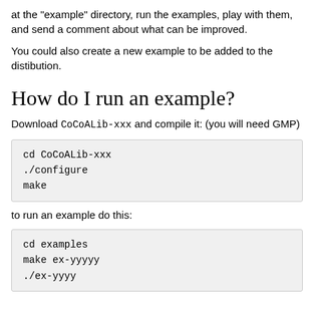at the "example" directory, run the examples, play with them, and send a comment about what can be improved.
You could also create a new example to be added to the distibution.
How do I run an example?
Download CoCoALib-xxx and compile it: (you will need GMP)
cd CoCoALib-xxx
./configure
make
to run an example do this:
cd examples
make ex-yyyyy
./ex-yyyy